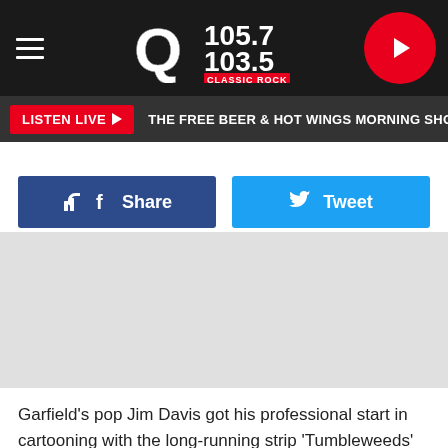[Figure (logo): Q105.7 / 103.5 Classic Rock radio station logo on dark header bar with hamburger menu and play button]
LISTEN LIVE ▶  THE FREE BEER & HOT WINGS MORNING SHOW
Share
Tweet
[Figure (photo): Gray placeholder image area]
Garfield's pop Jim Davis got his professional start in cartooning with the long-running strip 'Tumbleweeds' when